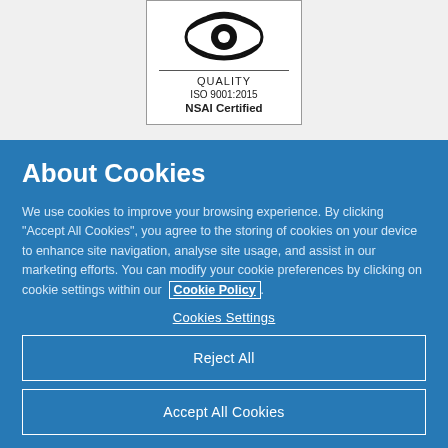[Figure (logo): NSAI ISO 9001:2015 Quality certification badge with stylized eye/swoosh logo, text: QUALITY, ISO 9001:2015, NSAI Certified]
About Cookies
We use cookies to improve your browsing experience. By clicking “Accept All Cookies”, you agree to the storing of cookies on your device to enhance site navigation, analyse site usage, and assist in our marketing efforts. You can modify your cookie preferences by clicking on cookie settings within our Cookie Policy.
Cookies Settings
Reject All
Accept All Cookies